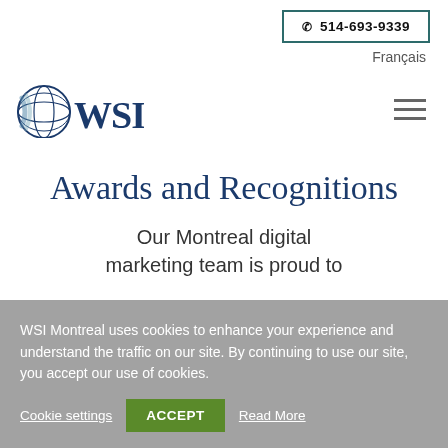📞 514-693-9339  Français
[Figure (logo): WSI globe logo with blue globe icon and bold blue 'WSI' text]
Awards and Recognitions
Our Montreal digital marketing team is proud to
WSI Montreal uses cookies to enhance your experience and understand the traffic on our site. By continuing to use our site, you accept our use of cookies.
Cookie settings  ACCEPT  Read More